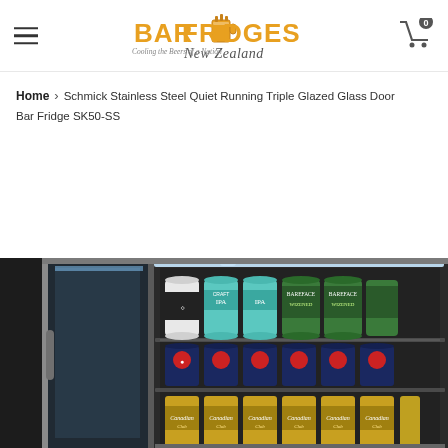Bar Fridges New Zealand - Cooling the Beers of a Nation
Home > Schmick Stainless Steel Quiet Running Triple Glazed Glass Door Bar Fridge SK50-SS
[Figure (photo): Interior of a stainless steel bar fridge with glass door open showing multiple shelves stocked with beer cans including IPA and Canadian brands, with interior LED lighting]